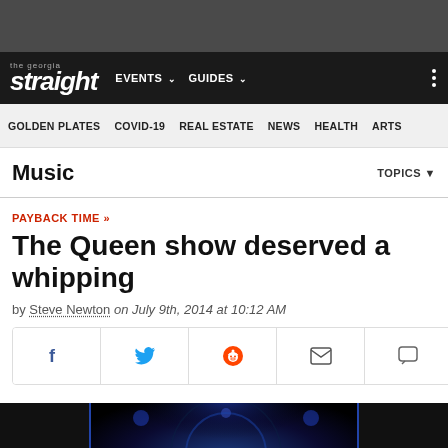the georgia straight — EVENTS  GUIDES
GOLDEN PLATES  COVID-19  REAL ESTATE  NEWS  HEALTH  ARTS
Music   TOPICS
PAYBACK TIME »
The Queen show deserved a whipping
by Steve Newton on July 9th, 2014 at 10:12 AM
[Figure (screenshot): Share buttons row: Facebook, Twitter, Reddit, Email, Comments]
[Figure (photo): Dark blue-lit concert photo showing a performer on stage]